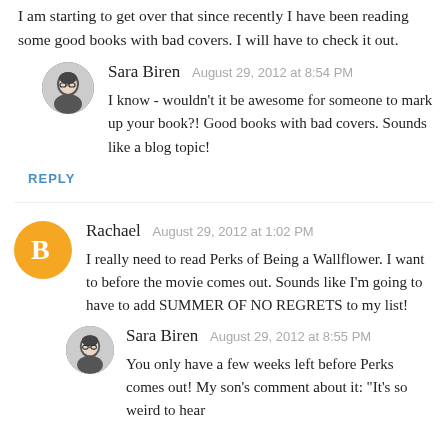I am starting to get over that since recently I have been reading some good books with bad covers. I will have to check it out.
Sara Biren  August 29, 2012 at 8:54 PM
I know - wouldn't it be awesome for someone to mark up your book?! Good books with bad covers. Sounds like a blog topic!
REPLY
Rachael  August 29, 2012 at 1:02 PM
I really need to read Perks of Being a Wallflower. I want to before the movie comes out. Sounds like I'm going to have to add SUMMER OF NO REGRETS to my list!
Sara Biren  August 29, 2012 at 8:55 PM
You only have a few weeks left before Perks comes out! My son's comment about it: "It's so weird to hear